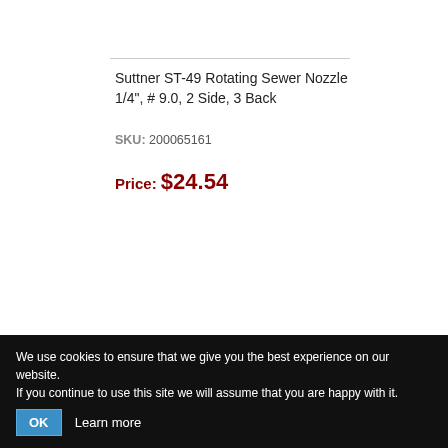Suttner ST-49 Rotating Sewer Nozzle 1/4", # 9.0, 2 Side, 3 Back
SKU: 200065161
Price: $24.54
We use cookies to ensure that we give you the best experience on our website. If you continue to use this site we will assume that you are happy with it. OK  Learn more